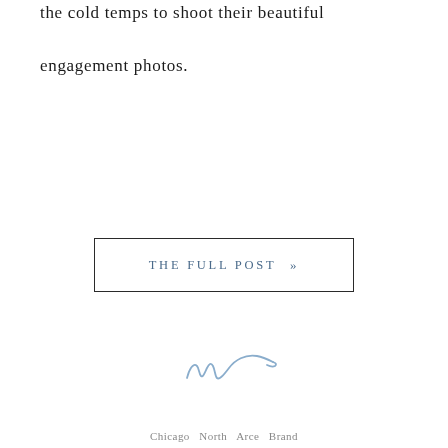the cold temps to shoot their beautiful engagement photos.
THE FULL POST »
[Figure (illustration): Handwritten cursive signature in a light blue-grey ink, resembling the letter 'w' with a flowing loop]
Chicago North Arce Brand